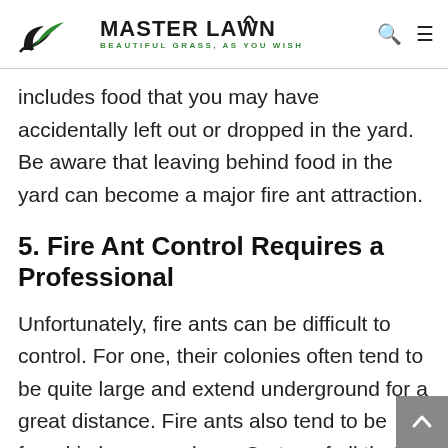MASTER LAWN — BEAUTIFUL GRASS, AS YOU WISH
includes food that you may have accidentally left out or dropped in the yard. Be aware that leaving behind food in the yard can become a major fire ant attraction.
5. Fire Ant Control Requires a Professional
Unfortunately, fire ants can be difficult to control. For one, their colonies often tend to be quite large and extend underground for a great distance. Fire ants also tend to be found in large numbers. On top of all that, colonies often have